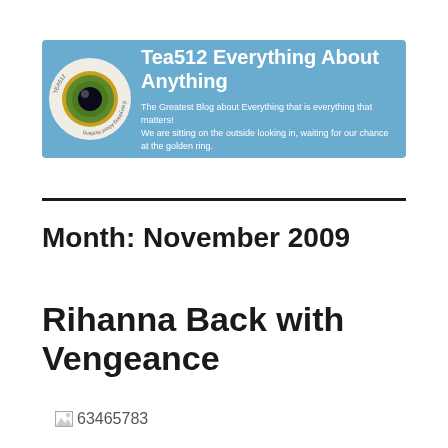[Figure (logo): Tea512 Everything About Anything blog banner with eye logo on blue background. Tagline: The Greatest Blog about Everything that is everything that matters! We are sitting on the outside looking in, waiting for our chance at the golden ring.]
Month: November 2009
Rihanna Back with Vengeance
[Figure (photo): Broken image placeholder labeled 63465783]